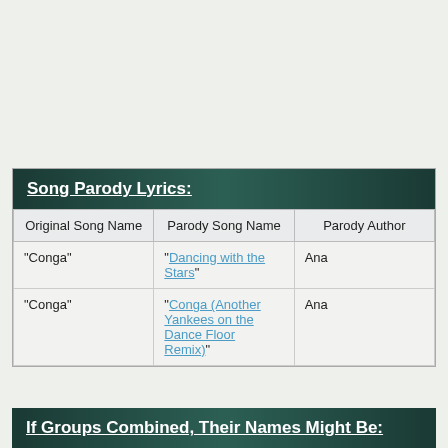| Original Song Name | Parody Song Name | Parody Author |
| --- | --- | --- |
| "Conga" | "Dancing with the Stars" | Ana |
| "Conga" | "Conga (Another Yankees on the Dance Floor Remix)" | Ana |
If Groups Combined, Their Names Might Be: